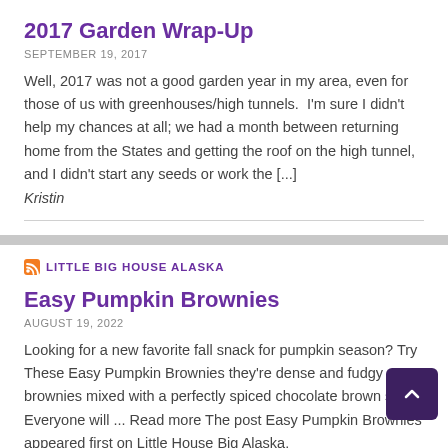2017 Garden Wrap-Up
SEPTEMBER 19, 2017
Well, 2017 was not a good garden year in my area, even for those of us with greenhouses/high tunnels.  I'm sure I didn't help my chances at all; we had a month between returning home from the States and getting the roof on the high tunnel, and I didn't start any seeds or work the [...]
Kristin
LITTLE BIG HOUSE ALASKA
Easy Pumpkin Brownies
AUGUST 19, 2022
Looking for a new favorite fall snack for pumpkin season? Try These Easy Pumpkin Brownies they're dense and fudgy brownies mixed with a perfectly spiced chocolate brown swirl. Everyone will ... Read more The post Easy Pumpkin Brownies appeared first on Little House Big Alaska.